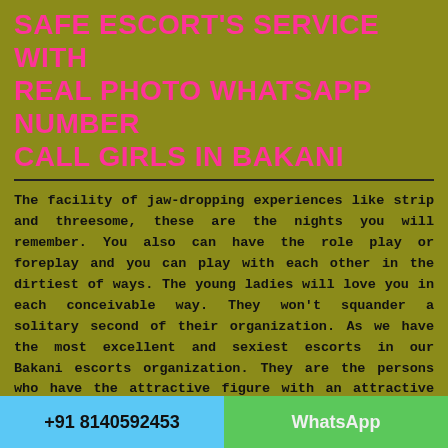SAFE ESCORT'S SERVICE WITH REAL PHOTO WHATSAPP NUMBER CALL GIRLS IN BAKANI
The facility of jaw-dropping experiences like strip and threesome, these are the nights you will remember. You also can have the role play or foreplay and you can play with each other in the dirtiest of ways. The young ladies will love you in each conceivable way. They won't squander a solitary second of their organization. As we have the most excellent and sexiest escorts in our Bakani escorts organization. They are the persons who have the attractive figure with an attractive bend in our escort's office who are available for in call and outcall administrations for any part of the day. They are exceptionally cognizant about her figure as to gives the perfectly clear look to their customers. Our everything escorts are accomplished
+91 8140592453   WhatsApp